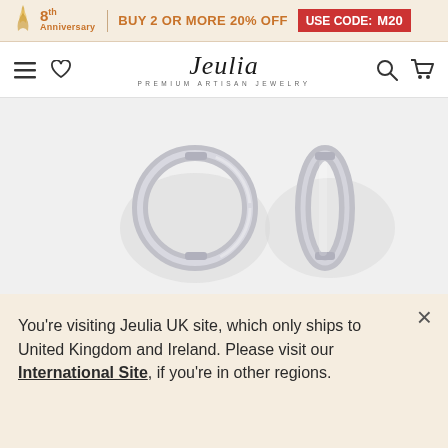8th Anniversary | BUY 2 OR MORE 20% OFF USE CODE: M20
[Figure (logo): Jeulia Premium Artisan Jewelry logo with navigation icons]
[Figure (photo): Two silver hoop earrings displayed on white background]
You're visiting Jeulia UK site, which only ships to United Kingdom and Ireland. Please visit our International Site, if you're in other regions.